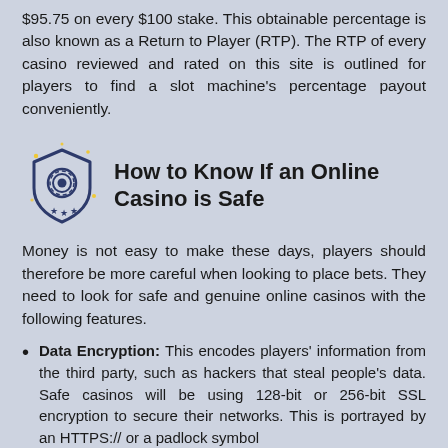$95.75 on every $100 stake. This obtainable percentage is also known as a Return to Player (RTP). The RTP of every casino reviewed and rated on this site is outlined for players to find a slot machine's percentage payout conveniently.
How to Know If an Online Casino is Safe
Money is not easy to make these days, players should therefore be more careful when looking to place bets. They need to look for safe and genuine online casinos with the following features.
Data Encryption: This encodes players' information from the third party, such as hackers that steal people's data. Safe casinos will be using 128-bit or 256-bit SSL encryption to secure their networks. This is portrayed by an HTTPS:// or a padlock symbol